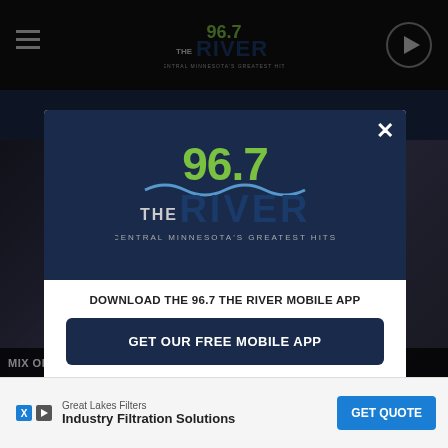[Figure (screenshot): Radio station website header with 96.7 The River logo, hamburger menu icon on left, play button on right, dark background]
[Figure (logo): 96.7 The River - Central Minnesota's Greatest Hits logo in green and blue on dark background inside modal]
DOWNLOAD THE 96.7 THE RIVER MOBILE APP
GET OUR FREE MOBILE APP
Also listen on:  amazon alexa
mix of hits like 'No Line Like You' - Rock You Like a
Great Lakes Filters  Industry Filtration Solutions  GET QUOTE